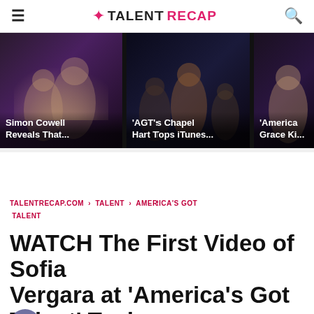TALENT RECAP
[Figure (photo): Thumbnail card: Simon Cowell with a woman at an event, purple/dark background. Text overlay: 'Simon Cowell Reveals That...']
[Figure (photo): Thumbnail card: AGT performers on stage, dark background. Text overlay: ''AGT's Chapel Hart Tops iTunes...']
[Figure (photo): Thumbnail card (partial): Female performer on stage. Text overlay: ''America's Grace Ki...']
TALENTRECAP.COM > TALENT > AMERICA'S GOT TALENT
WATCH The First Video of Sofia Vergara at 'America's Got Talent' Taping